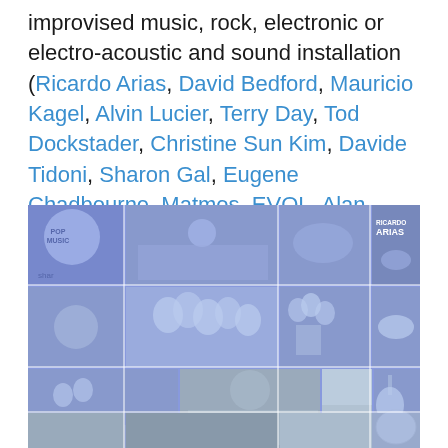improvised music, rock, electronic or electro-acoustic and sound installation (Ricardo Arias, David Bedford, Mauricio Kagel, Alvin Lucier, Terry Day, Tod Dockstader, Christine Sun Kim, Davide Tidoni, Sharon Gal, Eugene Chadbourne, Matmos, EVOL, Alan Nakagawa, to name a few).
[Figure (photo): A blue-tinted photo collage grid showing multiple scenes of performers and musicians with various objects including balloons, instruments, and sound equipment. Top right shows text 'RICARDO ARIAS'. Bottom left label reads 'shar'.]